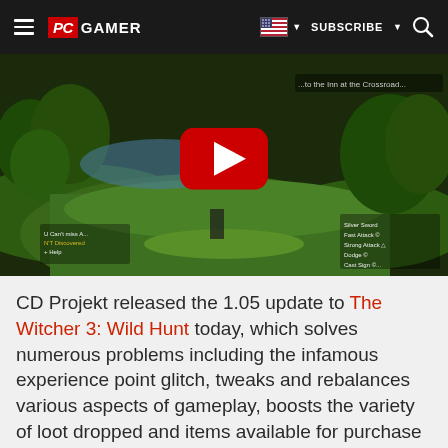PC GAMER | SUBSCRIBE
[Figure (screenshot): YouTube video thumbnail showing The Witcher 3: Wild Hunt gameplay — a lush green landscape with a red YouTube play button overlay in the center]
CD Projekt released the 1.05 update to The Witcher 3: Wild Hunt today, which solves numerous problems including the infamous experience point glitch, tweaks and rebalances various aspects of gameplay, boosts the variety of loot dropped and items available for purchase throughout the game, and deploys the Bovine Defense Force Initiative. Wait, what?